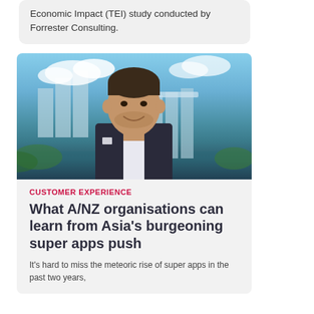Economic Impact (TEI) study conducted by Forrester Consulting.
[Figure (photo): Portrait photo of a man in a dark suit with white pocket square, smiling, standing outdoors with a blue sky and modern city buildings (resembling Marina Bay Sands, Singapore) in the background.]
CUSTOMER EXPERIENCE
What A/NZ organisations can learn from Asia's burgeoning super apps push
It's hard to miss the meteoric rise of super apps in the past two years,